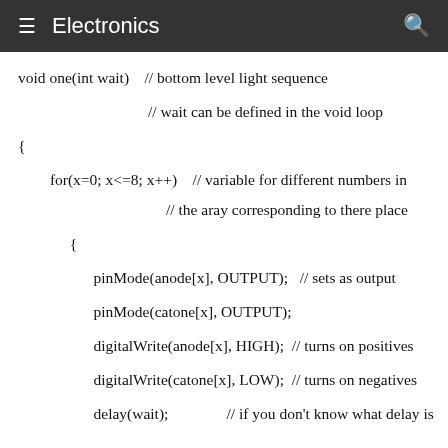≡  Electronics
void one(int wait)    // bottom level light sequence

                   // wait can be defined in the void loop

{

 for(x=0; x<=8; x++)    // variable for different numbers in

                   // the aray corresponding to there place

  {

    pinMode(anode[x], OUTPUT);   // sets as output

    pinMode(catone[x], OUTPUT);

    digitalWrite(anode[x], HIGH);  // turns on positives

    digitalWrite(catone[x], LOW);  // turns on negatives

    delay(wait);               // if you don't know what delay is